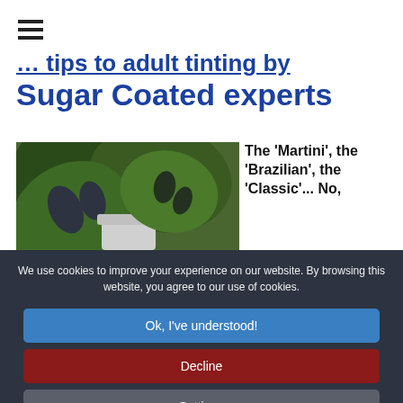[Figure (screenshot): Hamburger menu icon (three horizontal lines) in top left of website]
…tips to adult tinting by Sugar Coated experts
[Figure (photo): Close-up photo of monstera/tropical plant leaves, green with white variegation]
The 'Martini', the 'Brazilian', the 'Classic'... No,
We use cookies to improve your experience on our website. By browsing this website, you agree to our use of cookies.
Ok, I've understood!
Decline
Settings
More Info